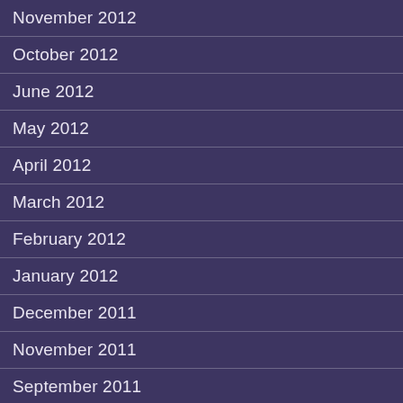November 2012
October 2012
June 2012
May 2012
April 2012
March 2012
February 2012
January 2012
December 2011
November 2011
September 2011
July 2011
June 2011